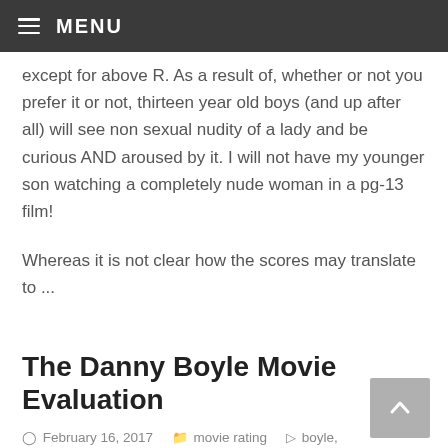MENU
except for above R. As a result of, whether or not you prefer it or not, thirteen year old boys (and up after all) will see non sexual nudity of a lady and be curious AND aroused by it. I will not have my younger son watching a completely nude woman in a pg-13 film!
Whereas it is not clear how the scores may translate to ...
The Danny Boyle Movie Evaluation
February 16, 2017    movie rating    boyle, danny, evaluation, movie